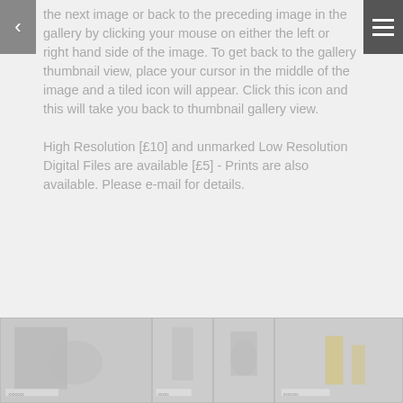the next image or back to the preceding image in the gallery by clicking your mouse on either the left or right hand side of the image. To get back to the gallery thumbnail view, place your cursor in the middle of the image and a tiled icon will appear. Click this icon and this will take you back to thumbnail gallery view.
High Resolution [£10] and unmarked Low Resolution Digital Files are available [£5] - Prints are also available. Please e-mail for details.
[Figure (photo): Thumbnail gallery row showing four partially visible photographs in grayscale/muted tones]